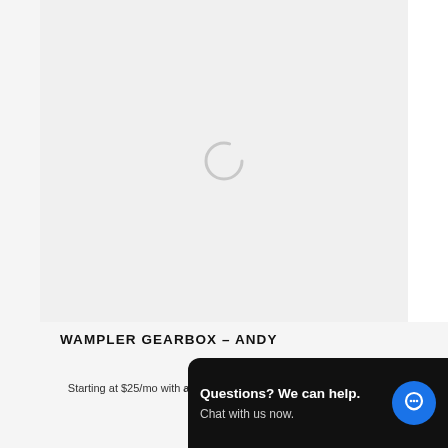[Figure (photo): Product image loading area with a spinner/loading indicator circle in the center on a light gray background]
WAMPLER GEARBOX – ANDY
$269.97
Starting at $25/mo with affirm. Prequalify now
[Figure (other): Chat widget popup with black background reading 'Questions? We can help. Chat with us now.' with a blue circular chat icon]